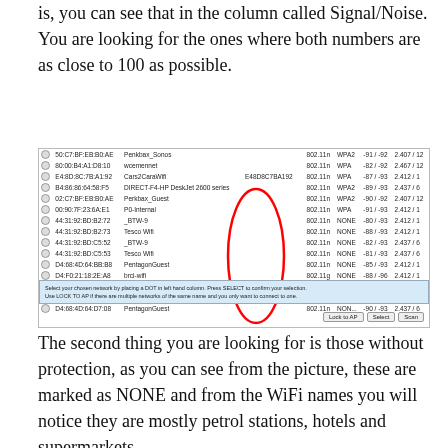is, you can see that in the column called Signal/Noise. You are looking for the ones where both numbers are as close to 100 as possible.
[Figure (screenshot): Screenshot of a WiFi network scanning tool showing a list of networks with columns for MAC address, SSID, BSSID, standard, security, signal/noise, and frequency. Several NONE security networks are circled in red including _BTW-9, Tesco Wifi, _BTW-9, Tesco Wifi, PentagonGuest, brcl-wifi, Pentagon Customer WiFi, Pentagon Customer WiFi, PentagonGuest. Buttons at bottom right: Lock to AP, Select, Scan.]
The second thing you are looking for is those without protection, as you can see from the picture, these are marked as NONE and from the WiFi names you will notice they are mostly petrol stations, hotels and supermarkets.